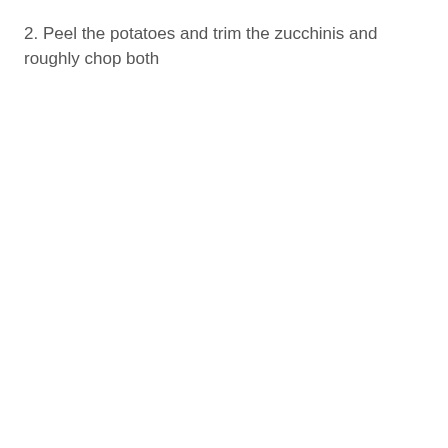2. Peel the potatoes and trim the zucchinis and roughly chop both